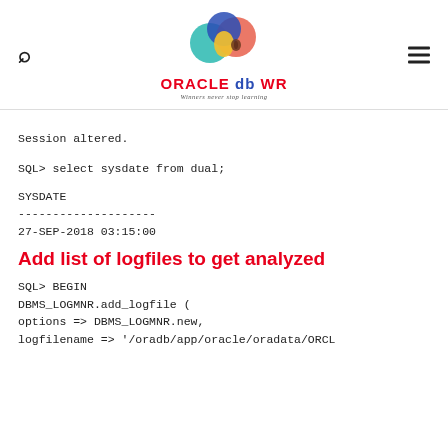[Figure (logo): Oracle db WR logo with cloud/tree graphic and tagline 'Winners never stop learning']
Session altered.
SQL> select sysdate from dual;
SYSDATE
--------------------
27-SEP-2018 03:15:00
Add list of logfiles to get analyzed
SQL> BEGIN
DBMS_LOGMNR.add_logfile (
options => DBMS_LOGMNR.new,
logfilename => '/oradb/app/oracle/oradata/ORCL